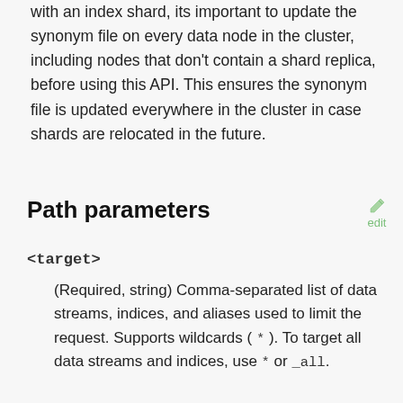with an index shard, its important to update the synonym file on every data node in the cluster, including nodes that don't contain a shard replica, before using this API. This ensures the synonym file is updated everywhere in the cluster in case shards are relocated in the future.
Path parameters
<target>
(Required, string) Comma-separated list of data streams, indices, and aliases used to limit the request. Supports wildcards ( * ). To target all data streams and indices, use * or _all.